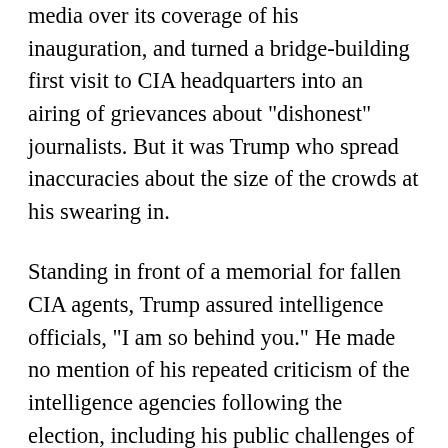media over its coverage of his inauguration, and turned a bridge-building first visit to CIA headquarters into an airing of grievances about "dishonest" journalists. But it was Trump who spread inaccuracies about the size of the crowds at his swearing in.
Standing in front of a memorial for fallen CIA agents, Trump assured intelligence officials, "I am so behind you." He made no mention of his repeated criticism of the intelligence agencies following the election, including his public challenges of their high-confidence assessment that Russia meddled in the White House race to help him win.
"There is nobody that feels stronger about the intelligence community and CIA than Donald Trump," he said, blaming any suggestion of a "feud" on the